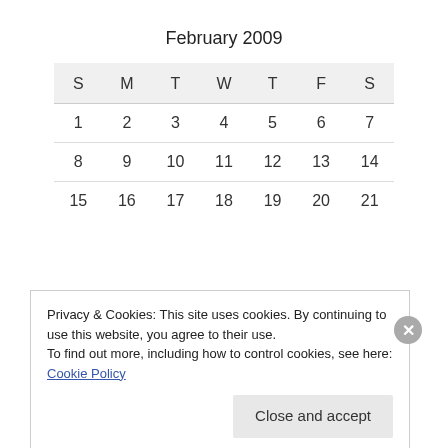February 2009
| S | M | T | W | T | F | S |
| --- | --- | --- | --- | --- | --- | --- |
| 1 | 2 | 3 | 4 | 5 | 6 | 7 |
| 8 | 9 | 10 | 11 | 12 | 13 | 14 |
| 15 | 16 | 17 | 18 | 19 | 20 | 21 |
Privacy & Cookies: This site uses cookies. By continuing to use this website, you agree to their use.
To find out more, including how to control cookies, see here: Cookie Policy
Close and accept